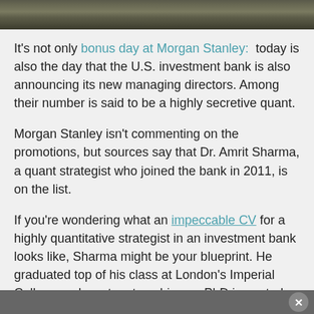[Figure (photo): Grainy outdoor photo strip showing ground or pavement texture]
It's not only bonus day at Morgan Stanley:  today is also the day that the U.S. investment bank is also announcing its new managing directors. Among their number is said to be a highly secretive quant.
Morgan Stanley isn't commenting on the promotions, but sources say that Dr. Amrit Sharma, a quant strategist who joined the bank in 2011, is on the list.
If you're wondering what an impeccable CV for a highly quantitative strategist in an investment bank looks like, Sharma might be your blueprint. He graduated top of his class at London's Imperial College and went on to achieve a PhD in control theory at Imperial. While he was completing the PhD, he also undertook a research internship at McLaren Automotive, and a research role at Imperial. He then spent nearly 18 months as a research fellow at the University of Oxford, working on the use of